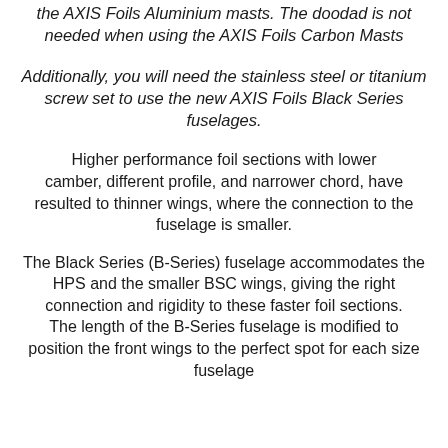the AXIS Foils Aluminium masts. The doodad is not needed when using the AXIS Foils Carbon Masts
Additionally, you will need the stainless steel or titanium screw set to use the new AXIS Foils Black Series fuselages.
Higher performance foil sections with lower camber, different profile, and narrower chord, have resulted to thinner wings, where the connection to the fuselage is smaller.
The Black Series (B-Series) fuselage accommodates the HPS and the smaller BSC wings, giving the right connection and rigidity to these faster foil sections. The length of the B-Series fuselage is modified to position the front wings to the perfect spot for each size fuselage